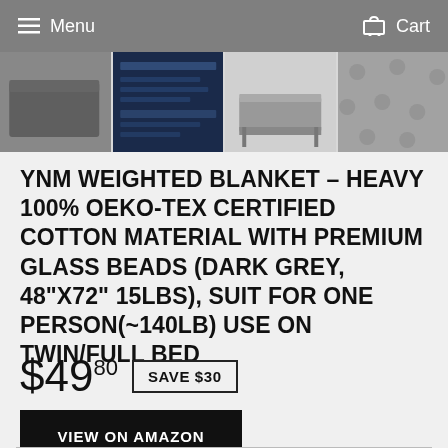Menu   Cart
[Figure (photo): Four thumbnail images of a grey weighted blanket product — folded blanket on bed, dark info graphic, blanket on bed frame, close-up of blanket texture]
YNM WEIGHTED BLANKET – HEAVY 100% OEKO-TEX CERTIFIED COTTON MATERIAL WITH PREMIUM GLASS BEADS (DARK GREY, 48"X72" 15LBS), SUIT FOR ONE PERSON(~140LB) USE ON TWIN/FULL BED
$49.80  SAVE $30
VIEW ON AMAZON